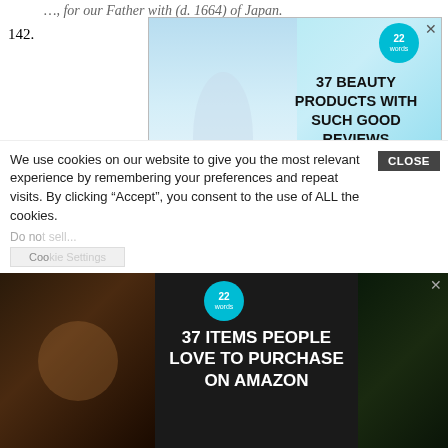142. [partial, cut off] Ayala
[Figure (infographic): Advertisement banner: '37 BEAUTY PRODUCTS WITH SUCH GOOD REVIEWS YOU MIGHT WANT TO TRY THEM YOURSELF' with teal background and badge '22 words', close button X]
143. [partially obscured]  of
144. Mora, for Bl. Elisabeth Canori Mora (d. 1825) of Italy.
145. Morse, for St. Henry Morse (d. 1645) of England.
146. Nelson, for Bl. John Nelson (d. 1578) of England.
147. Neri, for St. Philip Neri (d. 1595) of Italy.
148. Newman, for Bl. John Henry Newman (d. 1890).
We use cookies on our website to give you the most relevant experience by remembering your preferences and repeat visits. By clicking “Accept”, you consent to the use of ALL the cookies.
Do not sell...
[Figure (infographic): Advertisement banner: '37 ITEMS PEOPLE LOVE TO PURCHASE ON AMAZON' with dark background showing kitchen knives and food items, badge '22 words', close button X]